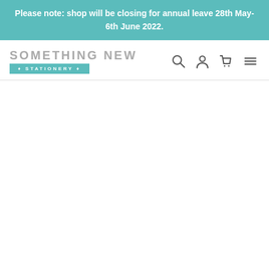Please note: shop will be closing for annual leave 28th May-6th June 2022.
[Figure (logo): Something New Stationery logo — handwritten-style text 'SOMETHING NEW' above a teal ribbon banner reading '• STATIONERY •']
[Figure (infographic): Navigation icons: search (magnifying glass), account (person silhouette), cart (shopping bag), and menu (hamburger lines)]